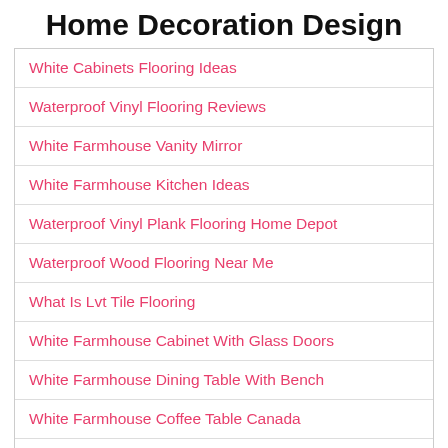Home Decoration Design
White Cabinets Flooring Ideas
Waterproof Vinyl Flooring Reviews
White Farmhouse Vanity Mirror
White Farmhouse Kitchen Ideas
Waterproof Vinyl Plank Flooring Home Depot
Waterproof Wood Flooring Near Me
What Is Lvt Tile Flooring
White Farmhouse Cabinet With Glass Doors
White Farmhouse Dining Table With Bench
White Farmhouse Coffee Table Canada
White Cork Flooring Tiles